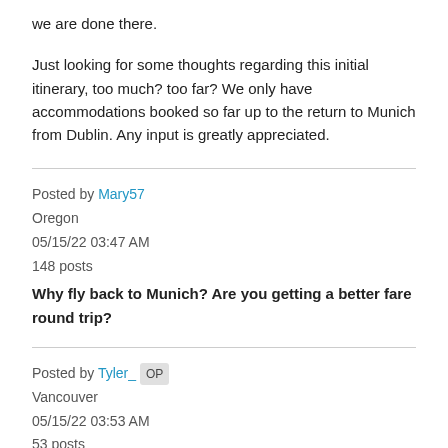we are done there.
Just looking for some thoughts regarding this initial itinerary, too much? too far? We only have accommodations booked so far up to the return to Munich from Dublin. Any input is greatly appreciated.
Posted by Mary57
Oregon
05/15/22 03:47 AM
148 posts
Why fly back to Munich? Are you getting a better fare round trip?
Posted by Tyler_ OP
Vancouver
05/15/22 03:53 AM
53 posts
Direct flights are few and far between from Munich to Dublin so